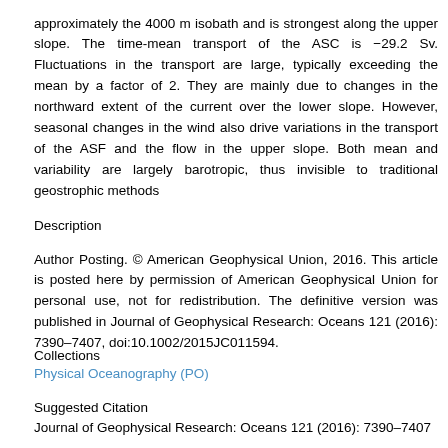approximately the 4000 m isobath and is strongest along the upper slope. The time-mean transport of the ASC is −29.2 Sv. Fluctuations in the transport are large, typically exceeding the mean by a factor of 2. They are mainly due to changes in the northward extent of the current over the lower slope. However, seasonal changes in the wind also drive variations in the transport of the ASF and the flow in the upper slope. Both mean and variability are largely barotropic, thus invisible to traditional geostrophic methods
Description
Author Posting. © American Geophysical Union, 2016. This article is posted here by permission of American Geophysical Union for personal use, not for redistribution. The definitive version was published in Journal of Geophysical Research: Oceans 121 (2016): 7390–7407, doi:10.1002/2015JC011594.
Collections
Physical Oceanography (PO)
Suggested Citation
Journal of Geophysical Research: Oceans 121 (2016): 7390–7407